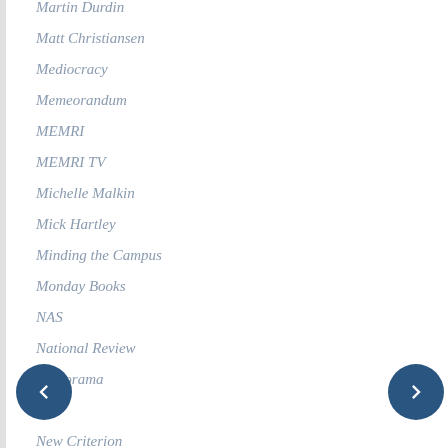Martin Durdin
Matt Christiansen
Mediocracy
Memeorandum
MEMRI
MEMRI TV
Michelle Malkin
Mick Hartley
Minding the Campus
Monday Books
NAS
National Review
Neatorama
Neo
New Criterion
Noah Carl
Open Culture
Other McCain
Paula Wright
Paywall Tool
Ping-o-matic
Political Hat
Project Veritas
Protein Wisdom